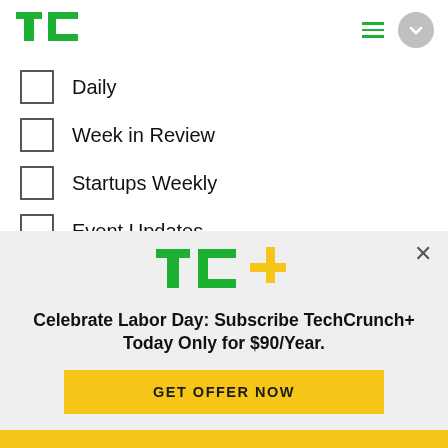TechCrunch header with logo, hamburger menu, and chevron button
Daily
Week in Review
Startups Weekly
Event Updates
Advertising Updates
TechCrunch+ Announcements
TechCrunch+ Events
[Figure (logo): TC+ logo with green TC and yellow plus sign]
Celebrate Labor Day: Subscribe TechCrunch+ Today Only for $90/Year.
GET OFFER NOW